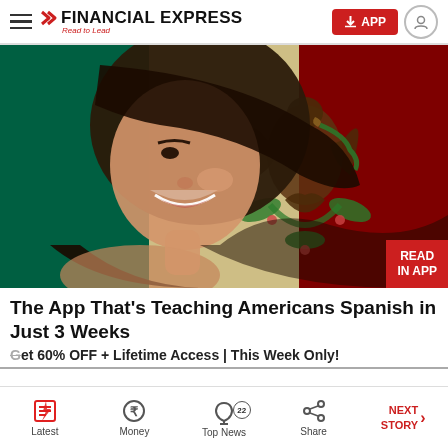FINANCIAL EXPRESS / Read to Lead
[Figure (photo): Woman smiling with hair blowing across her face, overlaid on the Mexican flag (green, white with eagle emblem, red). Red badge in bottom-right corner reads 'READ IN APP'.]
The App That's Teaching Americans Spanish in Just 3 Weeks
Get 60% OFF + Lifetime Access | This Week Only!
Latest | Money | Top News (22) | Share | NEXT STORY